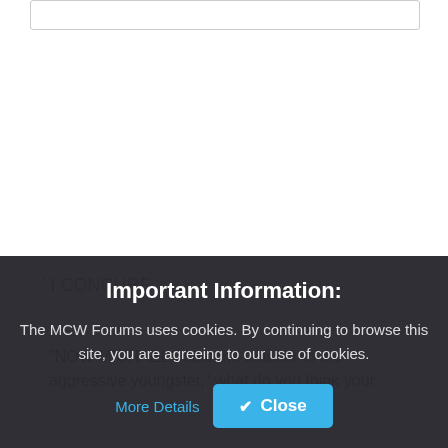' I CONCURE '
"NOW MICHAEL," said the teacher to the aggressive youngster, what do you think your
Important Information:
The MCW Forums uses cookies. By continuing to browse this site, you are agreeing to our use of cookies.
More Details
Close